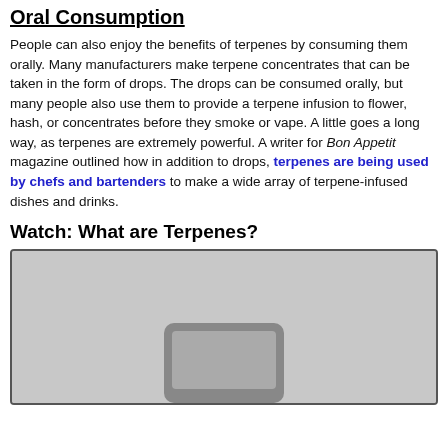Oral Consumption
People can also enjoy the benefits of terpenes by consuming them orally. Many manufacturers make terpene concentrates that can be taken in the form of drops. The drops can be consumed orally, but many people also use them to provide a terpene infusion to flower, hash, or concentrates before they smoke or vape. A little goes a long way, as terpenes are extremely powerful. A writer for Bon Appetit magazine outlined how in addition to drops, terpenes are being used by chefs and bartenders to make a wide array of terpene-infused dishes and drinks.
Watch: What are Terpenes?
[Figure (photo): Video thumbnail placeholder showing a grayscale image with a phone or device silhouette at the bottom center, gray background.]